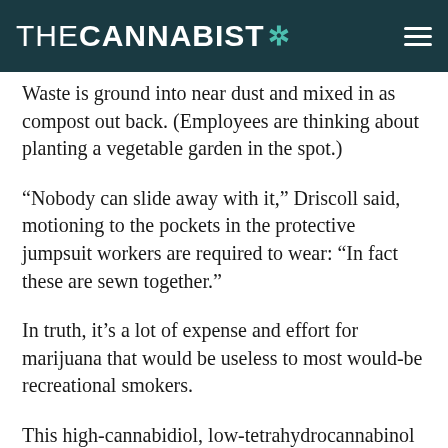THE CANNABIST
Waste is ground into near dust and mixed in as compost out back. (Employees are thinking about planting a vegetable garden in the spot.)
“Nobody can slide away with it,” Driscoll said, motioning to the pockets in the protective jumpsuit workers are required to wear: “In fact these are sewn together.”
In truth, it’s a lot of expense and effort for marijuana that would be useless to most would-be recreational smokers.
This high-cannabidiol, low-tetrahydrocannabinol (or THC) type of cannabis does not produce the high typical of recreational marijuana.
If one were to smoke it? “You’d probably just get a